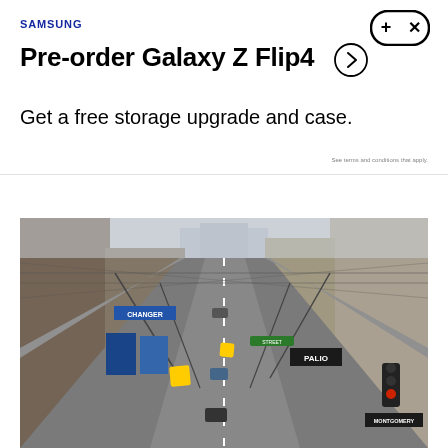[Figure (logo): Samsung logo in blue]
[Figure (logo): Game controller icon with plus and x symbols]
Pre-order Galaxy Z Flip4
Get a free storage upgrade and case.
See terms and conditions that apply.
[Figure (photo): Urban street scene looking down a steep city street with shops and signs on both sides, cars, traffic lights, and buildings receding into the distance. Signs visible include CHANGER, PALIO, MONTGOMERY. Red traffic light visible on the right.]